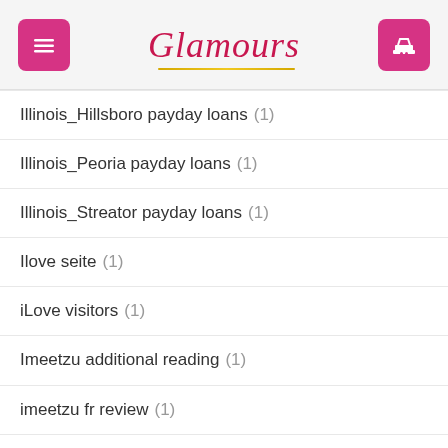Glamours
Illinois_Hillsboro payday loans (1)
Illinois_Peoria payday loans (1)
Illinois_Streator payday loans (1)
Ilove seite (1)
iLove visitors (1)
Imeetzu additional reading (1)
imeetzu fr review (1)
immediate payday loans online (1)
Incontri Avventisti allacciare (1)
Incontri Battista buoni (1)